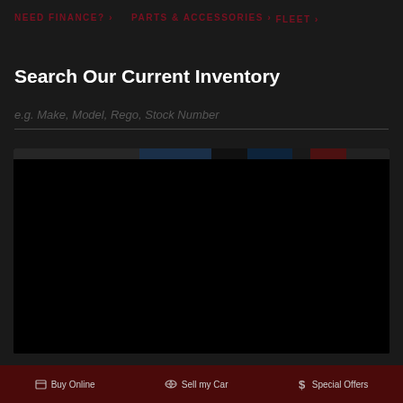NEED FINANCE? > PARTS & ACCESSORIES > FLEET >
Search Our Current Inventory
e.g. Make, Model, Rego, Stock Number
[Figure (screenshot): Dark video player area with thin coloured strip at top showing navigation interface]
Buy Online  Sell my Car  Special Offers